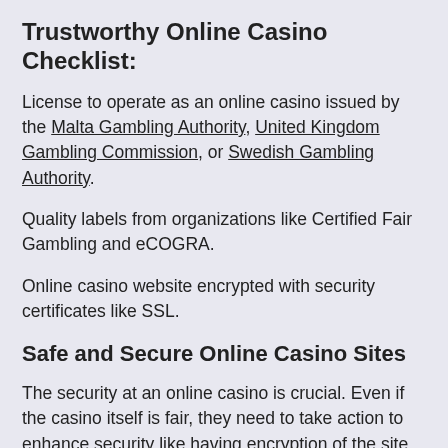Trustworthy Online Casino Checklist:
License to operate as an online casino issued by the Malta Gambling Authority, United Kingdom Gambling Commission, or Swedish Gambling Authority.
Quality labels from organizations like Certified Fair Gambling and eCOGRA.
Online casino website encrypted with security certificates like SSL.
Safe and Secure Online Casino Sites
The security at an online casino is crucial. Even if the casino itself is fair, they need to take action to enhance security like having encryption of the site to make it harder for third parties to get access to protected personal data and information. A good thing to look for is the SSL certificate that tells you the site is encrypted.